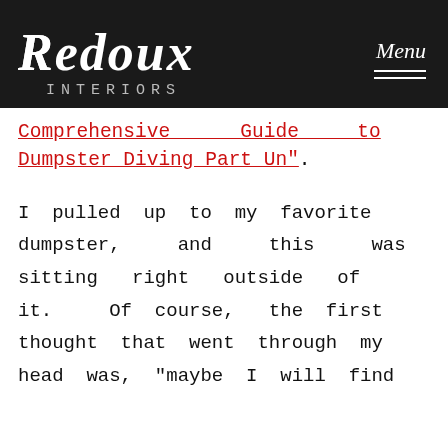Redoux Interiors — Menu
Comprehensive Guide to Dumpster Diving Part Un".
I pulled up to my favorite dumpster, and this was sitting right outside of it. Of course, the first thought that went through my head was, "maybe I will find